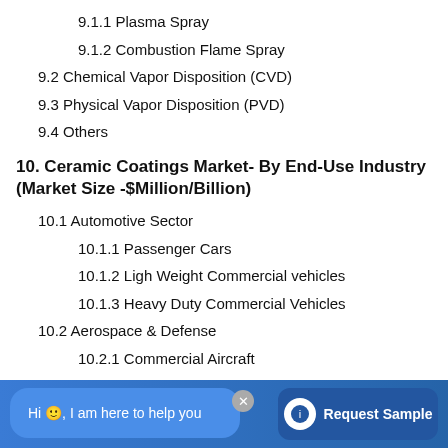9.1.1 Plasma Spray
9.1.2 Combustion Flame Spray
9.2 Chemical Vapor Disposition (CVD)
9.3 Physical Vapor Disposition (PVD)
9.4 Others
10. Ceramic Coatings Market- By End-Use Industry (Market Size -$Million/Billion)
10.1 Automotive Sector
10.1.1 Passenger Cars
10.1.2 Ligh Weight Commercial vehicles
10.1.3 Heavy Duty Commercial Vehicles
10.2 Aerospace & Defense
10.2.1 Commercial Aircraft
10.2.2 Military Aircraft
10.2.3 Space Vehicles